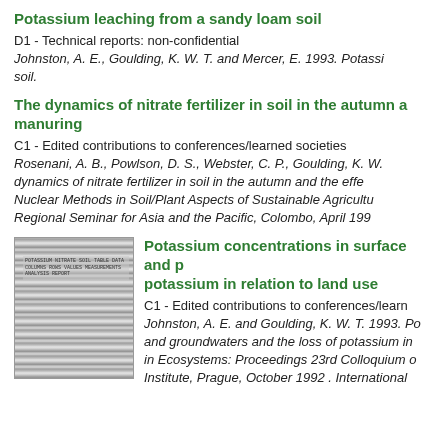Potassium leaching from a sandy loam soil
D1 - Technical reports: non-confidential
Johnston, A. E., Goulding, K. W. T. and Mercer, E. 1993. Potassium leaching from a sandy loam soil.
The dynamics of nitrate fertilizer in soil in the autumn and the effect of manuring
C1 - Edited contributions to conferences/learned societies
Rosenani, A. B., Powlson, D. S., Webster, C. P., Goulding, K. W. dynamics of nitrate fertilizer in soil in the autumn and the effe Nuclear Methods in Soil/Plant Aspects of Sustainable Agriculture Regional Seminar for Asia and the Pacific, Colombo, April 199
[Figure (photo): Thumbnail image of a document or table page]
Potassium concentrations in surface and groundwaters and the loss of potassium in relation to land use
C1 - Edited contributions to conferences/learned societies
Johnston, A. E. and Goulding, K. W. T. 1993. Potassium concentrations in surface and groundwaters and the loss of potassium in relation to land use. in Ecosystems: Proceedings 23rd Colloquium of the International Potash Institute, Prague, October 1992. International